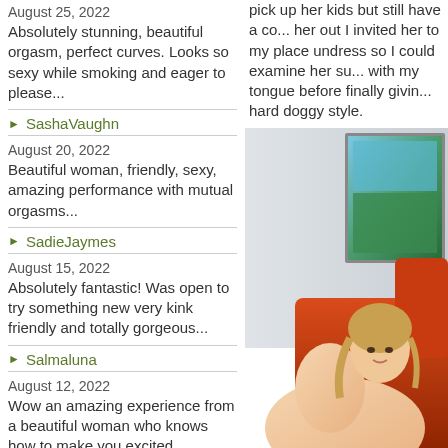August 25, 2022
Absolutely stunning, beautiful orgasm, perfect curves. Looks so sexy while smoking and eager to please...
SashaVaughn
August 20, 2022
Beautiful woman, friendly, sexy, amazing performance with mutual orgasms...
SadieJaymes
August 15, 2022
Absolutely fantastic! Was open to try something new very kink friendly and totally gorgeous...
Salmaluna
August 12, 2022
Wow an amazing experience from a beautiful woman who knows how to make you excited...
DeniseTaylors
August 9, 2022
Very interesting and beautiful older woman. Horny and sexy body. Her moans are out of this world...
IsabellaHottiie
pick up her kids but still have a co... her out I invited her to my place undress so I could examine her su... with my tongue before finally givin... hard doggy style.
[Figure (photo): Woman posing on red couch/sofa, with artwork visible on wall behind]